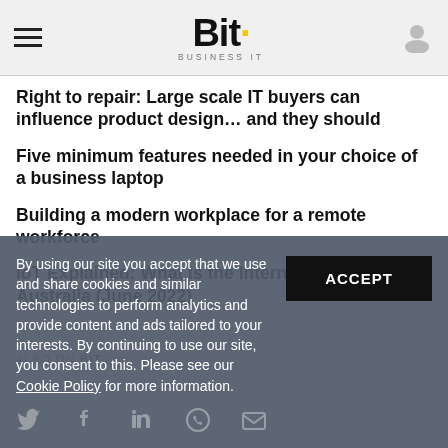Bit — Business IT
Right to repair: Large scale IT buyers can influence product design… and they should
Five minimum features needed in your choice of a business laptop
Building a modern workplace for a remote workforce
IoT Explained: What is the Internet of Things in Australia (June 2022)
ALSO ON BIT
By using our site you accept that we use and share cookies and similar technologies to perform analytics and provide content and ads tailored to your interests. By continuing to use our site, you consent to this. Please see our Cookie Policy for more information.